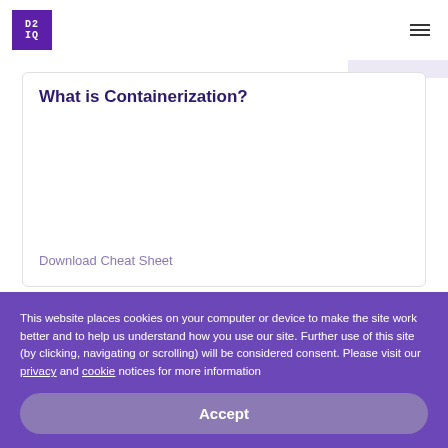[Figure (logo): D2IQ logo — purple square with white monospace text 'D2' on top and 'IQ' below]
What is Containerization?
Download Cheat Sheet
[Figure (illustration): Colorful purple-pink gradient card thumbnail with bullet points and a dark purple bar at the bottom]
SOLUTION BRIEF
Mission-Ready
This website places cookies on your computer or device to make the site work better and to help us understand how you use our site. Further use of this site (by clicking, navigating or scrolling) will be considered consent. Please visit our privacy and cookie notices for more information
Accept